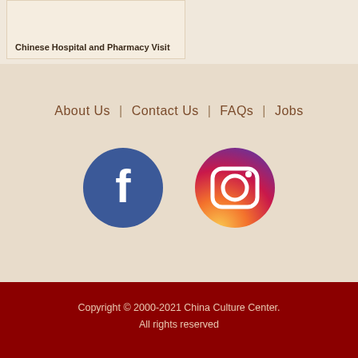Chinese Hospital and Pharmacy Visit
About Us  |  Contact Us  |  FAQs  |  Jobs
[Figure (illustration): Facebook circular icon button (dark blue with white 'f' logo) and Instagram circular icon button (gradient purple/pink/orange with white camera outline logo)]
Copyright © 2000-2021 China Culture Center.
All rights reserved